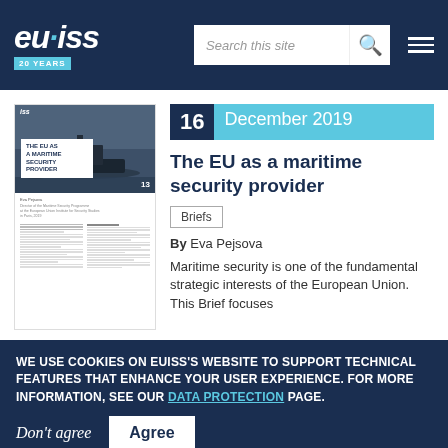EUISS 20 YEARS — Search this site
[Figure (screenshot): Thumbnail of the EUISS Brief document cover showing a maritime photograph with boats and text 'THE EU AS A MARITIME SECURITY PROVIDER']
16 December 2019
The EU as a maritime security provider
Briefs
By Eva Pejsova
Maritime security is one of the fundamental strategic interests of the European Union. This Brief focuses
WE USE COOKIES ON EUISS'S WEBSITE TO SUPPORT TECHNICAL FEATURES THAT ENHANCE YOUR USER EXPERIENCE. FOR MORE INFORMATION, SEE OUR DATA PROTECTION PAGE.
Don't agree   Agree